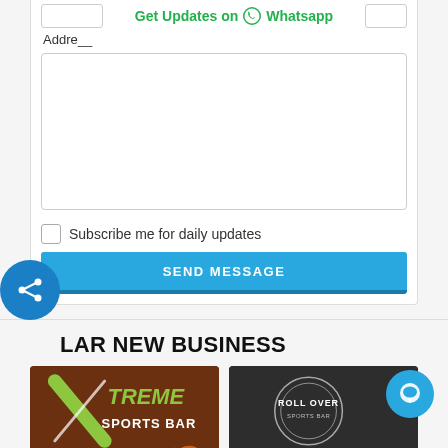Get Updates on Whatsapp
Addre__
Subscribe me for daily updates
SEND MESSAGE
LAR NEW BUSINESS
[Figure (photo): Xtreme Sports Bar logo on brick wall background]
[Figure (logo): Roll Over circular logo on dark background]